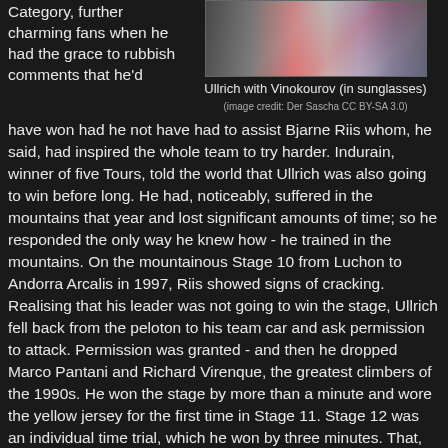Category, further charming fans when he had the grace to rubbish comments that he'd
[Figure (photo): Photo of Ullrich with Vinokourov (in sunglasses)]
Ullrich with Vinokourov (in sunglasses)
(image credit: Der Sascha CC BY-SA 3.0)
have won had he not have had to assist Bjarne Riis whom, he said, had inspired the whole team to try harder. Indurain, winner of five Tours, told the world that Ullrich was also going to win before long. He had, noticeably, suffered in the mountains that year and lost significant amounts of time; so he responded the only way he knew how - he trained in the mountains. On the mountainous Stage 10 from Luchon to Andorra Arcalis in 1997, Riis showed signs of cracking. Realising that his leader was not going to win the stage, Ullrich fell back from the peloton to his team car and ask permission to attack. Permission was granted - and then he dropped Marco Pantani and Richard Virenque, the greatest climbers of the 1990s. He won the stage by more than a minute and wore the yellow jersey for the first time in Stage 11. Stage 12 was an individual time trial, which he won by three minutes. That, along with several other respectable stage results, won him the overall General Classification, the Youth category and 2nd place in the Mountain ...